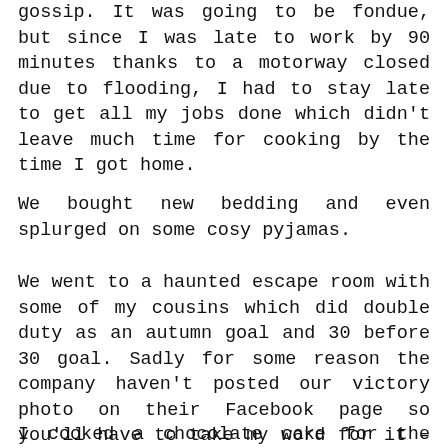gossip. It was going to be fondue, but since I was late to work by 90 minutes thanks to a motorway closed due to flooding, I had to stay late to get all my jobs done which didn't leave much time for cooking by the time I got home.
We bought new bedding and even splurged on some cosy pyjamas.
We went to a haunted escape room with some of my cousins which did double duty as an autumn goal and 30 before 30 goal. Sadly for some reason the company haven't posted our victory photo on their Facebook page so you'll have to take my word for it – we won the game with three minutes to spare.
I cooked a chocolate cake for the famil...